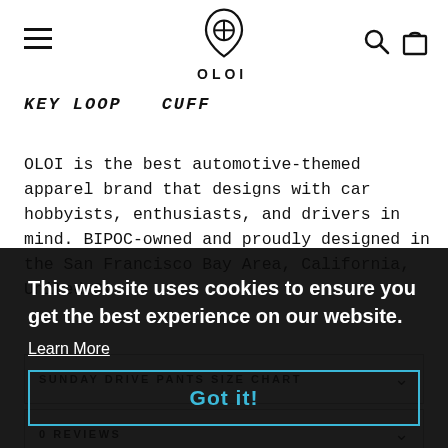[Figure (logo): OLOI brand logo — teardrop/shield shape with a cross-like emblem inside, with text OLOI below]
KEY LOOP   CUFF
OLOI is the best automotive-themed apparel brand that designs with car hobbyists, enthusiasts, and drivers in mind. BIPOC-owned and proudly designed in the San Francisco Bay Area, California, United States.
SUNDAY DRIVE PANTS SIZE CHART
0 REVIEWS
This website uses cookies to ensure you get the best experience on our website.
Learn More
Got it!